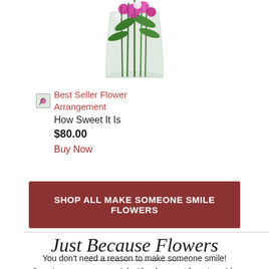[Figure (photo): Top portion of a flower arrangement in a glass vase with green leaves and colorful flowers, partially cropped at top]
[Figure (photo): Small thumbnail image of a Best Seller Flower Arrangement]
Best Seller Flower Arrangement
How Sweet It Is
$80.00
Buy Now
SHOP ALL MAKE SOMEONE SMILE FLOWERS
Just Because Flowers
You don't need a reason to make someone smile! Surprise someone special with a bouquet from Leaside Flower & Gifts. For more continuing content...